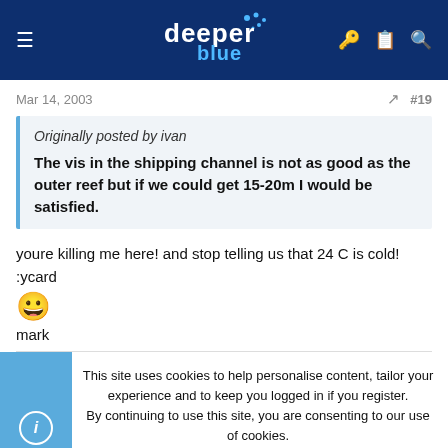DeeperBlue navigation header
Mar 14, 2003   #19
Originally posted by ivan

The vis in the shipping channel is not as good as the outer reef but if we could get 15-20m I would be satisfied.
youre killing me here! and stop telling us that 24 C is cold! :ycard
😀
mark
This site uses cookies to help personalise content, tailor your experience and to keep you logged in if you register.
By continuing to use this site, you are consenting to our use of cookies.